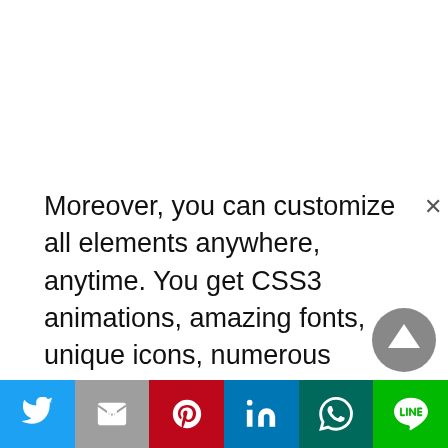Moreover, you can customize all elements anywhere, anytime. You get CSS3 animations, amazing fonts, unique icons, numerous colors, and fast processing. Hence, your mortgage loan officer's website receives a sophisticated, fresh loo. Moreover, it gets the supremacy to boost up and shine brighter with Pylon. So, Pylon template should your first preferrence, if your looking to a build Mortgage loan officer website without WordPress.
[Figure (other): Social sharing bar with Twitter, Gmail, Pinterest, LinkedIn, WhatsApp, and LINE buttons]